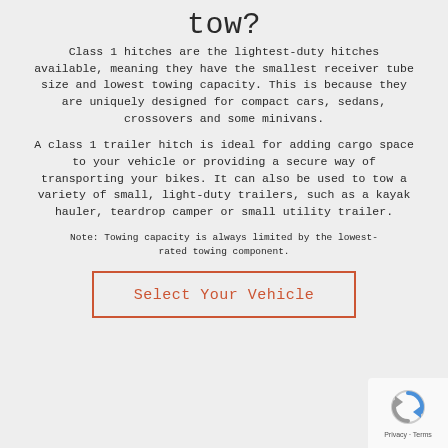tow?
Class 1 hitches are the lightest-duty hitches available, meaning they have the smallest receiver tube size and lowest towing capacity. This is because they are uniquely designed for compact cars, sedans, crossovers and some minivans.
A class 1 trailer hitch is ideal for adding cargo space to your vehicle or providing a secure way of transporting your bikes. It can also be used to tow a variety of small, light-duty trailers, such as a kayak hauler, teardrop camper or small utility trailer.
Note: Towing capacity is always limited by the lowest-rated towing component.
Select Your Vehicle
[Figure (logo): reCAPTCHA badge with Privacy and Terms text]